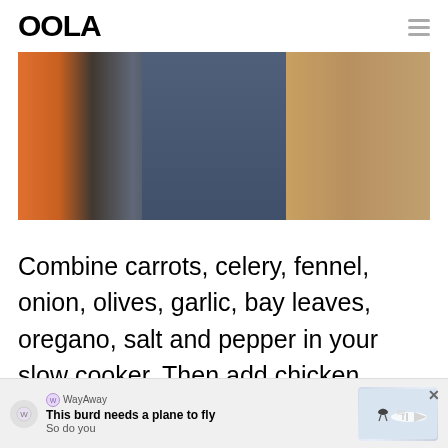OOLA
[Figure (photo): People outdoors holding hands or grasping arms, wearing orange and dark clothing, with sandy/dry ground visible in the background.]
Combine carrots, celery, fennel, onion, olives, garlic, bay leaves, oregano, salt and pepper in your slow cooker. Then add chicken breasts, and top it with chicken
[Figure (other): WayAway advertisement banner: 'This burd needs a plane to fly / So do you' with an illustration of a bird and airplane.]